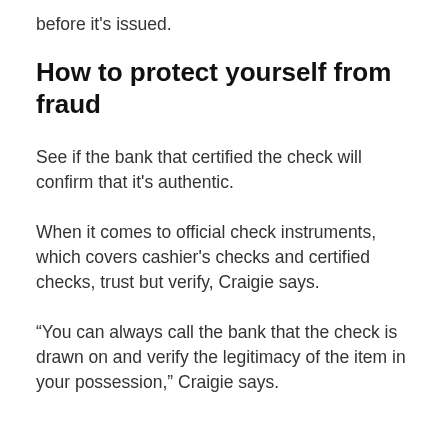before it's issued.
How to protect yourself from fraud
See if the bank that certified the check will confirm that it's authentic.
When it comes to official check instruments, which covers cashier's checks and certified checks, trust but verify, Craigie says.
“You can always call the bank that the check is drawn on and verify the legitimacy of the item in your possession,” Craigie says.